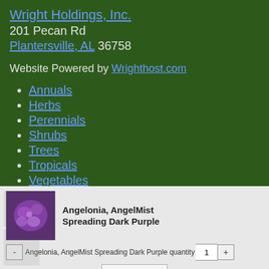Wright Holdings, Inc.
201 Pecan Rd
Plantersville, AL 36758
Website Powered by Wrighthost.com
Annuals
Herbs
Perennials
Shrubs
Trees
Tropicals
Vegetables
Fertilizer
Soil
Angelonia, AngelMist Spreading Dark Purple
Angelonia, AngelMist Spreading Dark Purple quantity 1
Add to cart